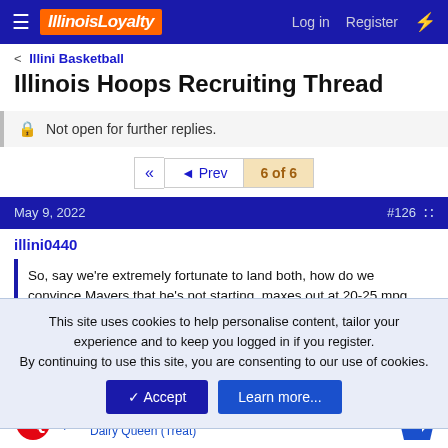IllinoisLoyalty — Log in   Register
Illini Basketball
Illinois Hoops Recruiting Thread
Not open for further replies.
◄◄  ◄ Prev   6 of 6
May 9, 2022   #126
illini0440
This site uses cookies to help personalise content, tailor your experience and to keep you logged in if you register.
By continuing to use this site, you are consenting to our use of cookies.
So, say we're extremely fortunate to land both, how do we convince Mayers that he's not starting, maxes out at 20-25 mpg and keep everyone reasonably happy? I guess winning a ton is the tonic.
Oh yea...  major r...